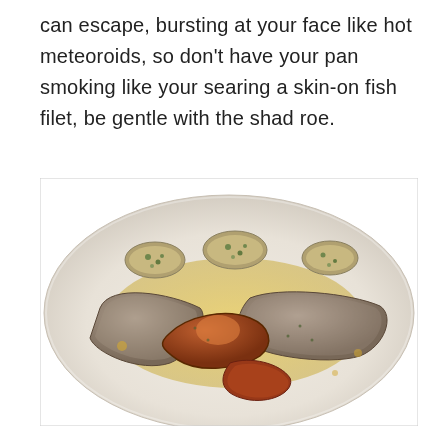can escape, bursting at your face like hot meteoroids, so don't have your pan smoking like your searing a skin-on fish filet, be gentle with the shad roe.
[Figure (photo): A plated dish on a white plate featuring seared shad roe with a golden butter sauce and herb-crusted accompaniments.]